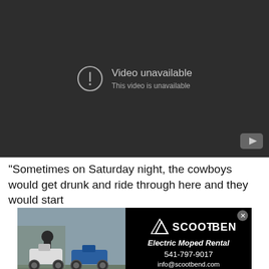[Figure (screenshot): YouTube video player showing 'Video unavailable' error message with exclamation icon and text 'This video is unavailable' on dark background. YouTube logo icon visible in bottom right corner.]
"Sometimes on Saturday night, the cowboys would get drunk and ride through here and they would start
[Figure (photo): Advertisement for Scoot Bend Electric Moped Rental. Left half shows a photo of two mopeds/scooters parked with a person in background. Right half is black panel with Scoot Bend logo (tent/mountain icon), 'Electric Moped Rental', phone 541-797-9017, info@scootbend.com, scootbend.com. Close button (X) in top right.]